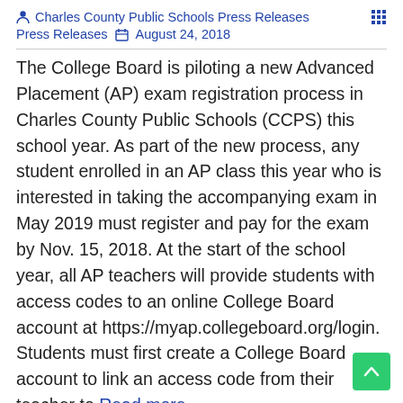Charles County Public Schools Press Releases
Press Releases  August 24, 2018
The College Board is piloting a new Advanced Placement (AP) exam registration process in Charles County Public Schools (CCPS) this school year. As part of the new process, any student enrolled in an AP class this year who is interested in taking the accompanying exam in May 2019 must register and pay for the exam by Nov. 15, 2018. At the start of the school year, all AP teachers will provide students with access codes to an online College Board account at https://myap.collegeboard.org/login. Students must first create a College Board account to link an access code from their teacher to Read more…